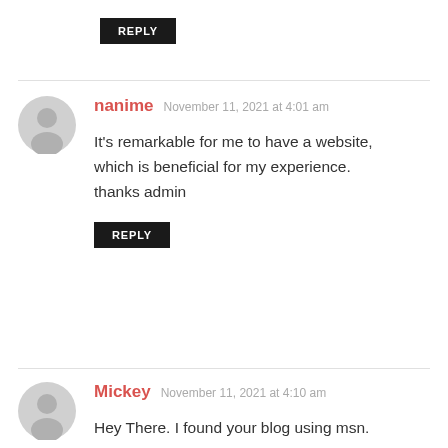REPLY
nanime  November 11, 2021 at 4:01 am
It’s remarkable for me to have a website, which is beneficial for my experience. thanks admin
REPLY
Mickey  November 11, 2021 at 4:10 am
Hey There. I found your blog using msn.